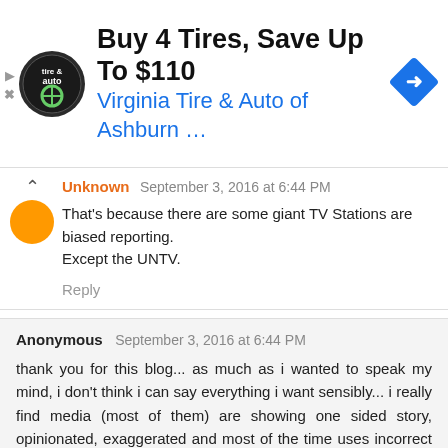[Figure (screenshot): Advertisement banner for Virginia Tire & Auto of Ashburn with logo, text 'Buy 4 Tires, Save Up To $110' and a blue navigation icon]
Unknown September 3, 2016 at 6:44 PM
That's because there are some giant TV Stations are biased reporting.
Except the UNTV.
Reply
Anonymous September 3, 2016 at 6:44 PM
thank you for this blog... as much as i wanted to speak my mind, i don't think i can say everything i want sensibly... i really find media (most of them) are showing one sided story, opinionated, exaggerated and most of the time uses incorrect terms... not sure if its to trigger the situation or showing off and that these words exist... it's really annoying and disappointing what media is doing... their role in the society